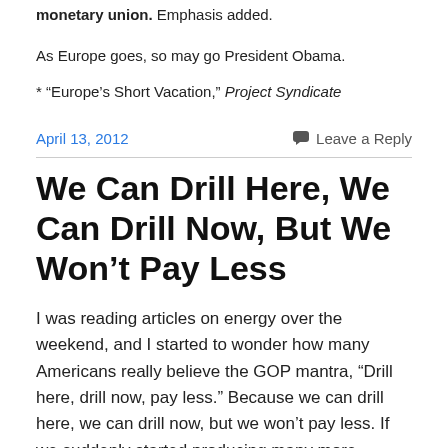monetary union.  Emphasis added.
As Europe goes, so may go President Obama.
* “Europe’s Short Vacation,” Project Syndicate
April 13, 2012
Leave a Reply
We Can Drill Here, We Can Drill Now, But We Won’t Pay Less
I was reading articles on energy over the weekend, and I started to wonder how many Americans really believe the GOP mantra, “Drill here, drill now, pay less.”  Because we can drill here, we can drill now, but we won’t pay less.  If we suddenly started producing many more barrels of oil and prices fell sharply, other countries would simply cut